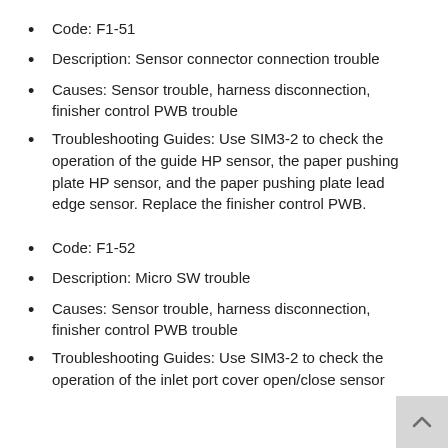Code: F1-51
Description: Sensor connector connection trouble
Causes: Sensor trouble, harness disconnection, finisher control PWB trouble
Troubleshooting Guides: Use SIM3-2 to check the operation of the guide HP sensor, the paper pushing plate HP sensor, and the paper pushing plate lead edge sensor. Replace the finisher control PWB.
Code: F1-52
Description: Micro SW trouble
Causes: Sensor trouble, harness disconnection, finisher control PWB trouble
Troubleshooting Guides: Use SIM3-2 to check the operation of the inlet port cover open/close sensor and the...